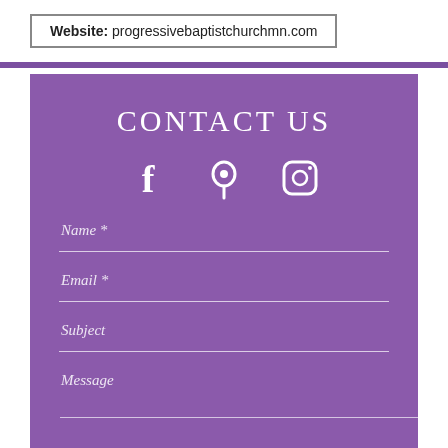Website: progressivebaptistchurchmn.com
CONTACT US
[Figure (illustration): Three white social media icons: Facebook (f), Google Maps location pin, and Instagram camera]
Name *
Email *
Subject
Message